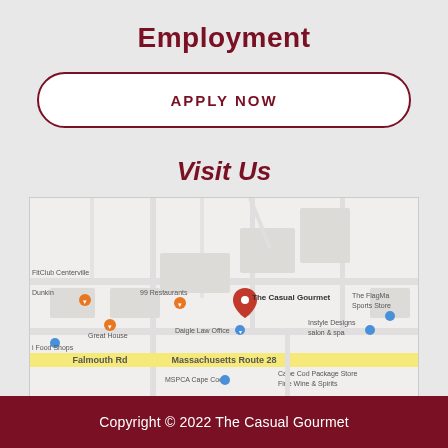Employment
APPLY NOW
Visit Us
[Figure (map): Google Maps screenshot showing the location of The Casual Gourmet near Massachusetts Route 28 / Falmouth Rd in Centerville area, with nearby landmarks including Dunkin, 99 Restaurants, Great House, Daigle Law Office, FitClub Centerville, MSPCA Cape Cod, Cape Cod Package Store Fine Wine & Spirits, Instyle Designs salon & spa, and The FlagMa Sports Store.]
Copyright © 2022 The Casual Gourmet